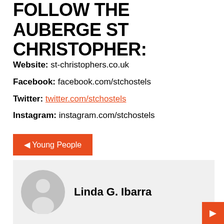FOLLOW THE AUBERGE ST CHRISTOPHER:
Website: st-christophers.co.uk
Facebook: facebook.com/stchostels
Twitter: twitter.com/stchostels
Instagram: instagram.com/stchostels
◁ Young People
Linda G. Ibarra